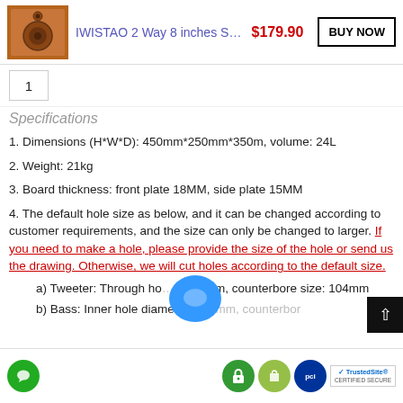IWISTAO 2 Way 8 inches S… $179.90 BUY NOW
1
Specifications
1. Dimensions (H*W*D): 450mm*250mm*350m, volume: 24L
2. Weight: 21kg
3. Board thickness: front plate 18MM, side plate 15MM
4. The default hole size as below, and it can be changed according to customer requirements, and the size can only be changed to larger. If you need to make a hole, please provide the size of the hole or send us the drawing. Otherwise, we will cut holes according to the default size.
a) Tweeter: Through hole diameter: 78mm, counterbore size: 104mm
b) Bass: Inner hole diameter: 200mm, counterbore